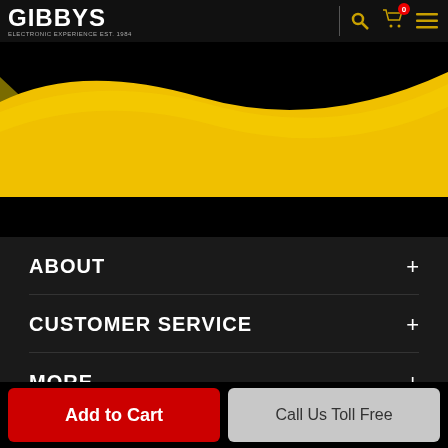GIBBYS — header with logo, search, cart (0), and menu icons
[Figure (illustration): Yellow and dark gold swoosh/wave decorative graphic on black background, with a small dark gold geometric shape at left]
ABOUT +
CUSTOMER SERVICE +
MORE +
Add to Cart
Call Us Toll Free